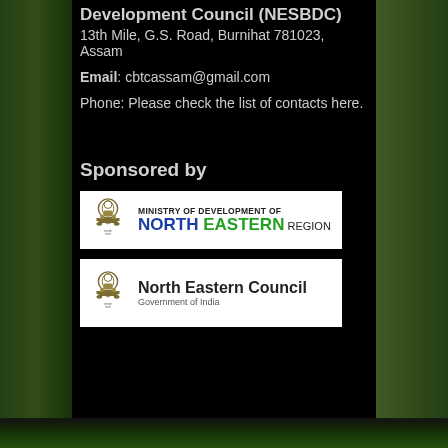Development Council (NESBDC)
13th Mile, G.S. Road, Burnihat 781023, Assam
Email: cbtcassam@gmail.com
Phone: Please check the list of contacts here.
Sponsored by
[Figure (logo): Ministry of Development of North Eastern Region logo with Ashoka Emblem]
[Figure (logo): North Eastern Council, Government of India logo with Ashoka Emblem]